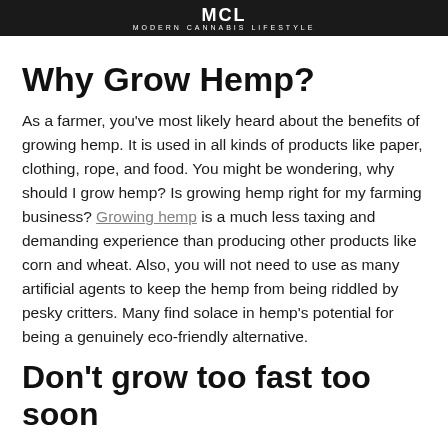MODERN CANNABIS LIFESTYLE
Why Grow Hemp?
As a farmer, you've most likely heard about the benefits of growing hemp. It is used in all kinds of products like paper, clothing, rope, and food. You might be wondering, why should I grow hemp? Is growing hemp right for my farming business? Growing hemp is a much less taxing and demanding experience than producing other products like corn and wheat. Also, you will not need to use as many artificial agents to keep the hemp from being riddled by pesky critters. Many find solace in hemp's potential for being a genuinely eco-friendly alternative.
Don't grow too fast too soon